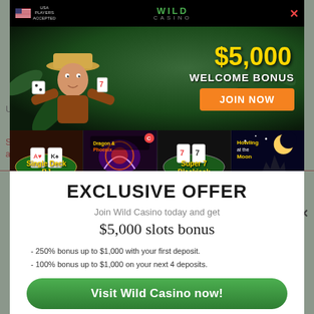[Figure (screenshot): Wild Casino advertisement banner with $5,000 welcome bonus offer, showing jungle-themed character, game thumbnails (Single Deck BJ, Dragon & Phoenix, Super 7 Blackjack, Howling at the Moon), and exclusive offer modal with green CTA buttons.]
EXCLUSIVE OFFER
Join Wild Casino today and get
$5,000 slots bonus
- 250% bonus up to $1,000 with your first deposit.
- 100% bonus up to $1,000 on your next 4 deposits.
Visit Wild Casino now!
MONDAY BONUS CODES